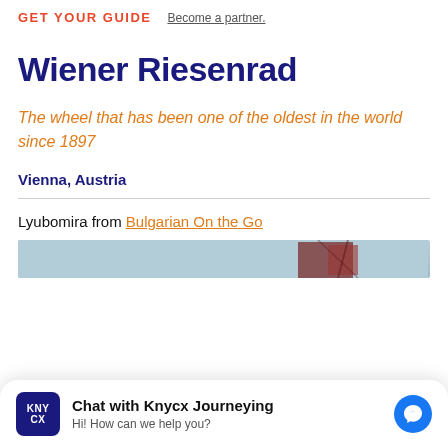GET YOUR GUIDE  Become a partner.
Wiener Riesenrad
The wheel that has been one of the oldest in the world since 1897
Vienna, Austria
Lyubomira from Bulgarian On the Go
[Figure (photo): Partial view of the Wiener Riesenrad ferris wheel, red gondolas against a light blue sky]
Chat with Knycx Journeying
Hi! How can we help you?